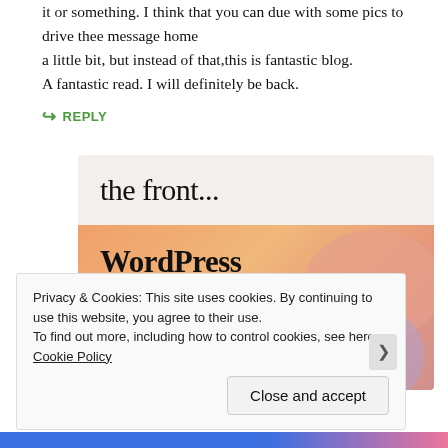it or something. I think that you can due with some pics to drive thee message home
a little bit, but instead of that,this is fantastic blog.
A fantastic read. I will definitely be back.
↪ REPLY
[Figure (illustration): Advertisement image with two sections: top section on light gray background reads 'the front...' in serif font; bottom section with colorful peach/orange/pink/lavender blob background reads 'WordPress in the back.' in bold serif font]
Privacy & Cookies: This site uses cookies. By continuing to use this website, you agree to their use.
To find out more, including how to control cookies, see here: Cookie Policy
Close and accept